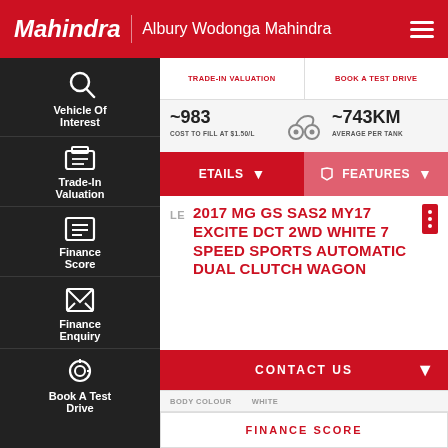Mahindra | Albury Wodonga Mahindra
TRADE-IN VALUATION | BOOK A TEST DRIVE
[Figure (infographic): Sidebar navigation with icons: Vehicle Of Interest, Trade-In Valuation, Finance Score, Finance Enquiry, Book A Test Drive]
~983 COST TO FILL AT $1.50/L
~743KM AVERAGE PER TANK
ETAILS (dropdown) | FEATURES (dropdown)
LE
2017 MG GS SAS2 MY17 EXCITE DCT 2WD WHITE 7 SPEED SPORTS AUTOMATIC DUAL CLUTCH WAGON
CONTACT US
BODY COLOUR | WHITE
FINANCE SCORE